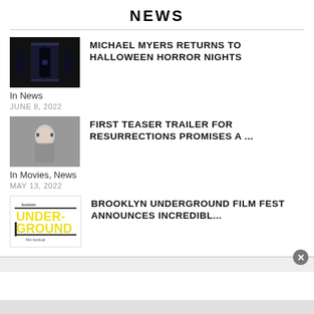NEWS
[Figure (photo): Dark corridor/room horror scene thumbnail for Michael Myers article]
MICHAEL MYERS RETURNS TO HALLOWEEN HORROR NIGHTS
In News
JUNE 8, 2022
[Figure (photo): Woman in gray jacket, dark background, movie scene thumbnail for Resurrections article]
FIRST TEASER TRAILER FOR RESURRECTIONS PROMISES A ...
In Movies, News
MAY 13, 2022
[Figure (logo): Boston Underground Film Festival logo with yellow text on dark background]
BROOKLYN UNDERGROUND FILM FEST ANNOUNCES INCREDIBL...